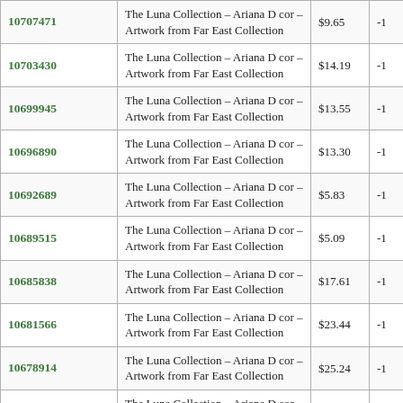| 10707471 | The Luna Collection – Ariana D cor – Artwork from Far East Collection | $9.65 | -1 |
| 10703430 | The Luna Collection – Ariana D cor – Artwork from Far East Collection | $14.19 | -1 |
| 10699945 | The Luna Collection – Ariana D cor – Artwork from Far East Collection | $13.55 | -1 |
| 10696890 | The Luna Collection – Ariana D cor – Artwork from Far East Collection | $13.30 | -1 |
| 10692689 | The Luna Collection – Ariana D cor – Artwork from Far East Collection | $5.83 | -1 |
| 10689515 | The Luna Collection – Ariana D cor – Artwork from Far East Collection | $5.09 | -1 |
| 10685838 | The Luna Collection – Ariana D cor – Artwork from Far East Collection | $17.61 | -1 |
| 10681566 | The Luna Collection – Ariana D cor – Artwork from Far East Collection | $23.44 | -1 |
| 10678914 | The Luna Collection – Ariana D cor – Artwork from Far East Collection | $25.24 | -1 |
| 10675305 | The Luna Collection – Ariana D cor – Artwork from Far East Collection | $17.52 | -1 |